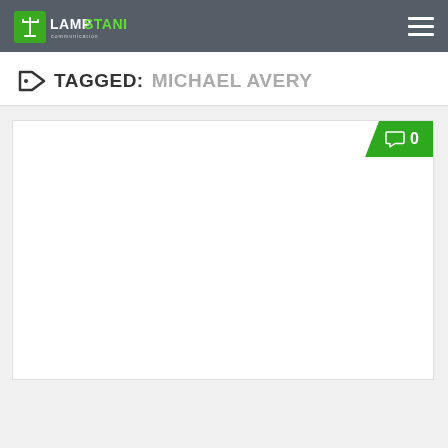Lampstand Communication — navigation header
TAGGED: MICHAEL AVERY
[Figure (other): White card content area with a green comment badge showing '0' in the top-right corner]